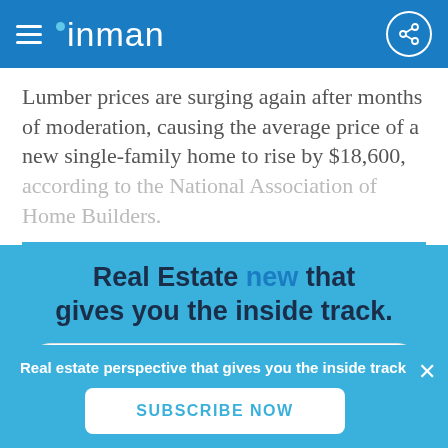inman
Lumber prices are surging again after months of moderation, causing the average price of a new single-family home to rise by $18,600, according to the National Association of Home Builders.
Real Estate new that gives you the inside track.
Real estate perspective that gives you the inside track
SUBSCRIBE NOW